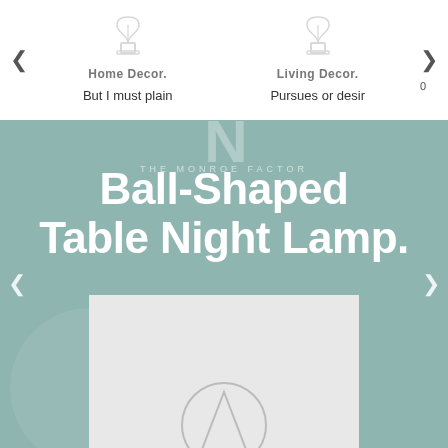[Figure (screenshot): E-commerce website product carousel screenshot showing navigation arrows, two product category icons with placeholder text, and a featured product banner for 'Ball-Shaped Table Night Lamp' with THE MONROE FACTOR branding on a muted teal background, with a product image placeholder below]
But I must plain
Pursues or desir
Ball-Shaped Table Night Lamp.